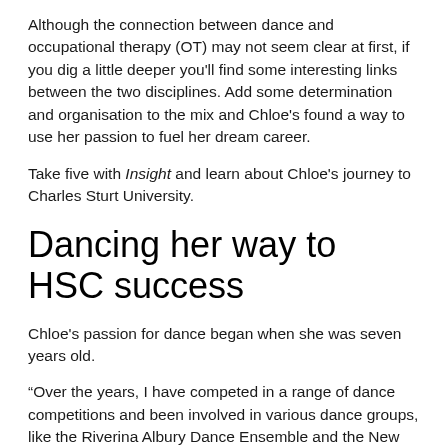Although the connection between dance and occupational therapy (OT) may not seem clear at first, if you dig a little deeper you'll find some interesting links between the two disciplines. Add some determination and organisation to the mix and Chloe's found a way to use her passion to fuel her dream career.
Take five with Insight and learn about Chloe's journey to Charles Sturt University.
Dancing her way to HSC success
Chloe's passion for dance began when she was seven years old.
“Over the years, I have competed in a range of dance competitions and been involved in various dance groups, like the Riverina Albury Dance Ensemble and the New South Wales Dance Ensemble. Currently, I’m teaching the junior and intermediate Riverina Albury Dance Ensemble, which is really enjoyable,” she said.